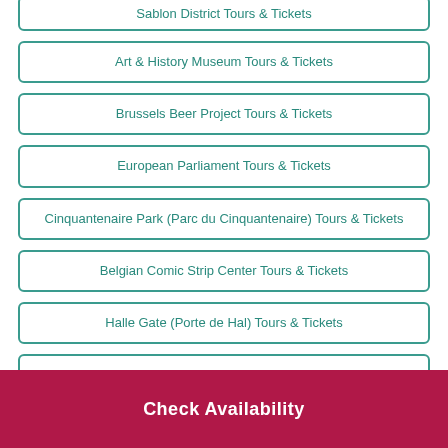Sablon District Tours & Tickets
Art & History Museum Tours & Tickets
Brussels Beer Project Tours & Tickets
European Parliament Tours & Tickets
Cinquantenaire Park (Parc du Cinquantenaire) Tours & Tickets
Belgian Comic Strip Center Tours & Tickets
Halle Gate (Porte de Hal) Tours & Tickets
Check Availability